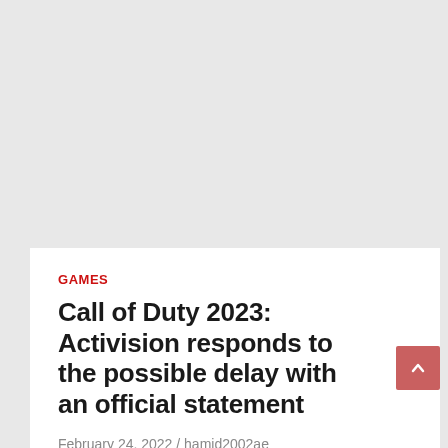GAMES
Call of Duty 2023: Activision responds to the possible delay with an official statement
February 24, 2022 / hamid2002ae
An Activision spokesperson has officially responded to